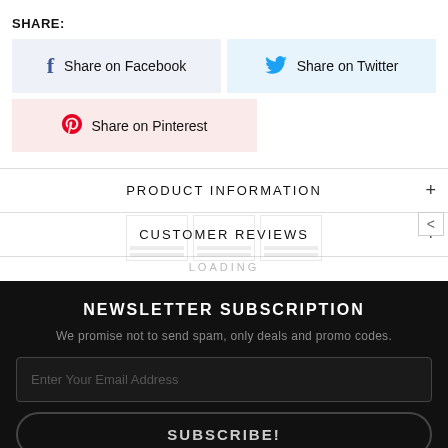SHARE:
Share on Facebook
Share on Twitter
Share on Pinterest
PRODUCT INFORMATION
CUSTOMER REVIEWS
LOADING
NEWSLETTER SUBSCRIPTION
We promise not to send spam, only deals and promo codes.
Enter Your Email Address
SUBSCRIBE!